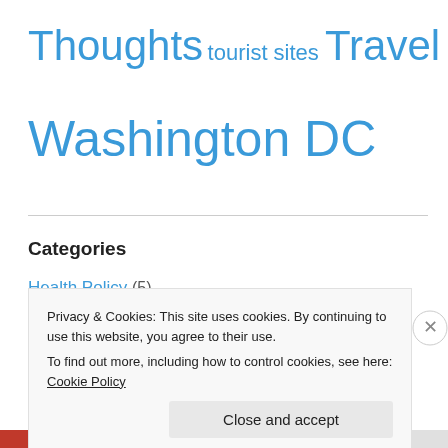Thoughts tourist sites Travel
Washington DC
Categories
Health Policy (5)
Honduras (33)
Italy (15)
New York City (25)
Public Health (32)
Privacy & Cookies: This site uses cookies. By continuing to use this website, you agree to their use.
To find out more, including how to control cookies, see here: Cookie Policy
Close and accept